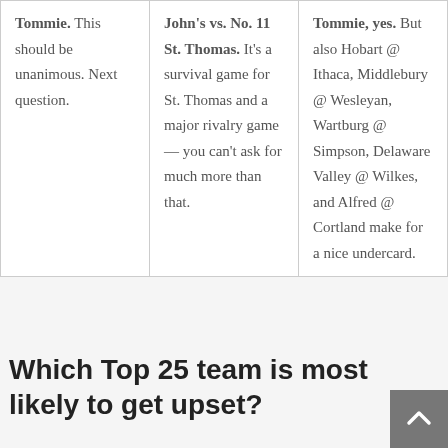| Tommie. This should be unanimous. Next question. | John's vs. No. 11 St. Thomas. It's a survival game for St. Thomas and a major rivalry game — you can't ask for much more than that. | Tommie, yes. But also Hobart @ Ithaca, Middlebury @ Wesleyan, Wartburg @ Simpson, Delaware Valley @ Wilkes, and Alfred @ Cortland make for a nice undercard. |
Which Top 25 team is most likely to get upset?